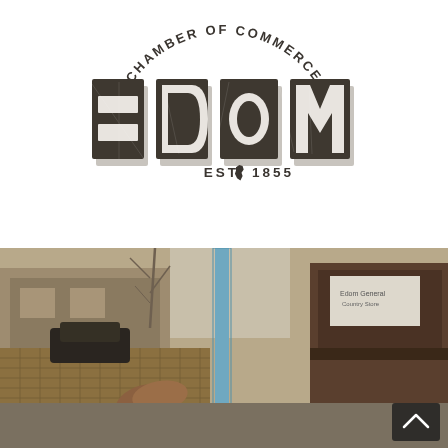[Figure (logo): Edom Chamber of Commerce logo — large distressed block letters spelling EDOM with arched text 'CHAMBER OF COMMERCE' above and 'EST. [Texas star] 1855' below, in dark charcoal/grey on white]
[Figure (photo): Street-level photograph of a small town (Edom, TX). In the foreground, hands holding paintbrushes over a wire mesh/basket. A blue utility pole is center. To the right is a dark wooden storefront building with a sign. Background shows bare winter trees and another building on the left. Warm golden-hour lighting.]